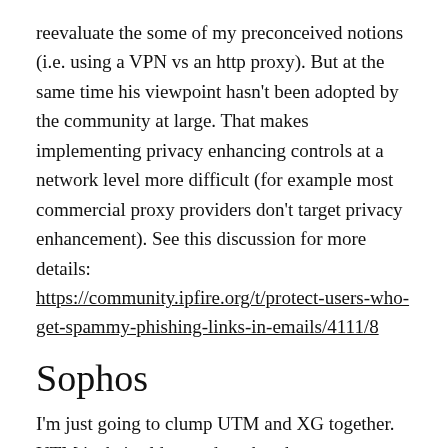reevaluate the some of my preconceived notions (i.e. using a VPN vs an http proxy). But at the same time his viewpoint hasn't been adopted by the community at large. That makes implementing privacy enhancing controls at a network level more difficult (for example most commercial proxy providers don't target privacy enhancement). See this discussion for more details: https://community.ipfire.org/t/protect-users-who-get-spammy-phishing-links-in-emails/4111/8
Sophos
I'm just going to clump UTM and XG together. UTM is their older product that they are sunsetting but supports fq_codel but NOT 6rd. XG is the newer product line that does not support fq_codel but does support 6rd. I love the fact that they offer both of these free for home users. UTM only supports 50 devices and it wasn't clear to me